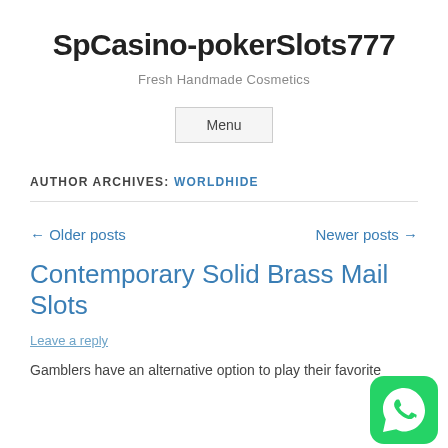SpCasino-pokerSlots777
Fresh Handmade Cosmetics
Menu
AUTHOR ARCHIVES: WORLDHIDE
← Older posts
Newer posts →
Contemporary Solid Brass Mail Slots
Leave a reply
Gamblers have an alternative option to play their favorite